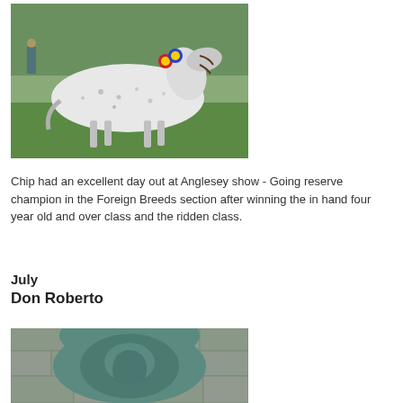[Figure (photo): A white spotted Appaloosa pony with red and blue rosette ribbons standing on green grass, viewed from the side.]
Chip had an excellent day out at Anglesey show - Going reserve champion in the Foreign Breeds section after winning the in hand four year old and over class and the ridden class.
July
Don Roberto
[Figure (photo): A bronze or stone relief sculpture/plaque of a horse head set into a stone wall, viewed partially from above.]